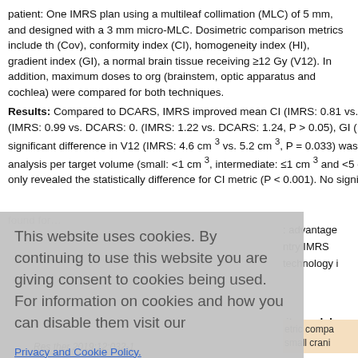patient: One IMRS plan using a multileaf collimation (MLC) of 5 mm, and designed with a 3 mm micro-MLC. Dosimetric comparison metrics include th (Cov), conformity index (CI), homogeneity index (HI), gradient index (GI), a normal brain tissue receiving ≥12 Gy (V12). In addition, maximum doses to org (brainstem, optic apparatus and cochlea) were compared for both techniques.
Results: Compared to DCARS, IMRS improved mean CI (IMRS: 0.81 vs. D 0.001), with no significant difference in target Cov (IMRS: 0.99 vs. DCARS: 0. (IMRS: 1.22 vs. DCARS: 1.24, P > 0.05), GI (IMRS: 5.44 vs. DACRS: 5.44, P significant difference in V12 (IMRS: 4.6 cm³ vs. 5.2 cm³, P = 0.033) was ob analysis per target volume (small: <1 cm³, intermediate: ≤1 cm³ and <5 cm³ a only revealed the statistically difference for CI metric (P < 0.001). No significan
[Figure (screenshot): Cookie consent overlay dialog with grey background reading 'This website uses cookies. By continuing to use this website you are giving consent to cookies being used. For information on cookies and how you can disable them visit our Privacy and Cookie Policy.' with a red AGREE & PROCEED button.]
: advantage ntry IMRS :technology i
ity modula
Res ther 2019;12:032-1
etric compa small crani